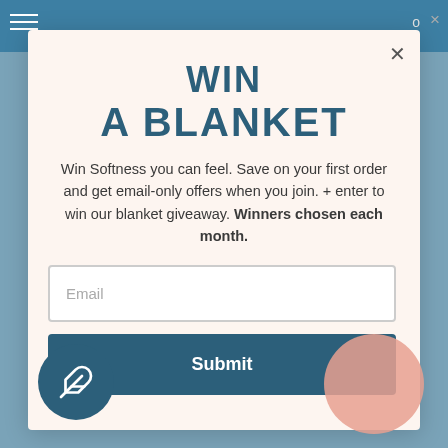WIN A BLANKET
Win Softness you can feel. Save on your first order and get email-only offers when you join. + enter to win our blanket giveaway. Winners chosen each month.
Email
Submit